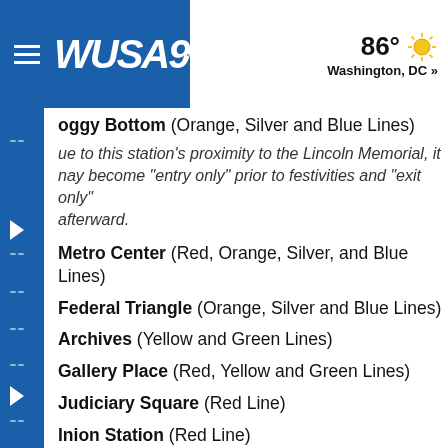WUSA9 | 86° Washington, DC »
Foggy Bottom (Orange, Silver and Blue Lines)
Due to this station's proximity to the Lincoln Memorial, it may become "entry only" prior to festivities and "exit only" afterward.
Metro Center (Red, Orange, Silver, and Blue Lines)
Federal Triangle (Orange, Silver and Blue Lines)
Archives (Yellow and Green Lines)
Gallery Place (Red, Yellow and Green Lines)
Judiciary Square (Red Line)
Union Station (Red Line)
L'Enfant Plaza (Orange, Silver, Blue, Yellow, and Green Lines)